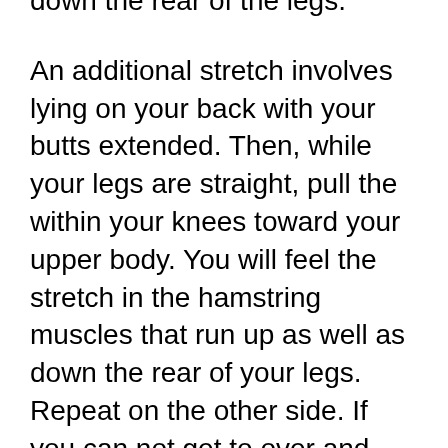down the rear of the legs.
An additional stretch involves lying on your back with your butts extended. Then, while your legs are straight, pull the within your knees toward your upper body. You will feel the stretch in the hamstring muscles that run up as well as down the rear of your legs. Repeat on the other side. If you can not get to over and touch your toes, you can utilize a little block to support them. If you can not pull your butt to the ground, you may want to have a person delicately use pressure or pause.
One last stretch includes reclining number 4 stretch. This stretch is much easier than the pet cat stretch. To do the reclined number 4